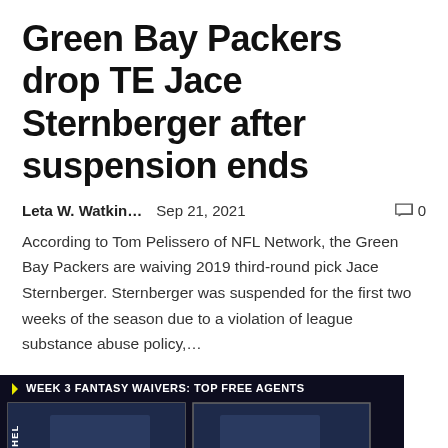Green Bay Packers drop TE Jace Sternberger after suspension ends
Leta W. Watkin...   Sep 21, 2021   🗨 0
According to Tom Pelissero of NFL Network, the Green Bay Packers are waiving 2019 third-round pick Jace Sternberger. Sternberger was suspended for the first two weeks of the season due to a violation of league substance abuse policy,...
[Figure (photo): Dark-background sports card image labeled 'Week 3 Fantasy Waivers: Top Free Agents' showing two NFL player photos: Sony Michel (LA Rams) and Alexander Mattison (MN Vikings) with red bar graphics]
Fantasy Waiver Wire Week 3...